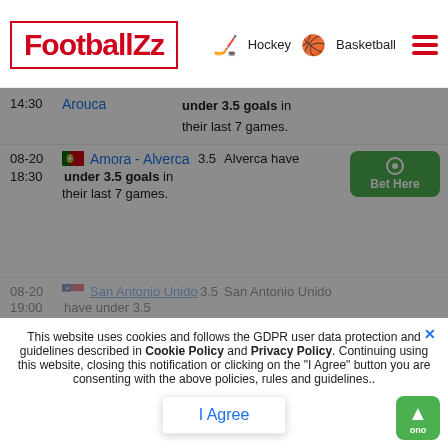FootballZz | Hockey | Basketball
14:30  Arouca  under 3.5 goals in their last 7 games.
08-20  18:30  Amora - Alverca  3.5  Alverca have under 3.5 goals in their last 7 games.  Bet Here
08-20  19:00  San Antonio Unido  3.5  San Antonio Unido have under 3.5 goals in their last...
08-20  18:30  Pickering FC - Windsor TFC  Windsor TFC have under 3.5 goals in
This website uses cookies and follows the GDPR user data protection and guidelines described in Cookie Policy and Privacy Policy. Continuing using this website, closing this notification or clicking on the "I Agree" button you are consenting with the above policies, rules and guidelines..
I Agree